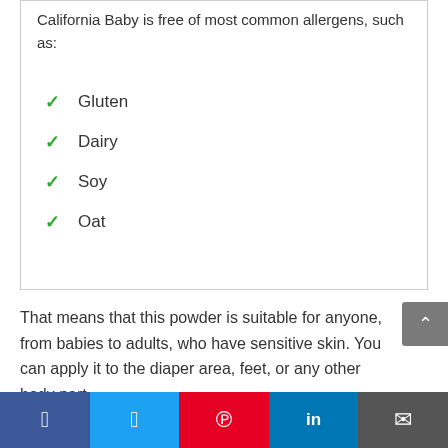California Baby is free of most common allergens, such as:
✓ Gluten
✓ Dairy
✓ Soy
✓ Oat
That means that this powder is suitable for anyone, from babies to adults, who have sensitive skin. You can apply it to the diaper area, feet, or any other body part.